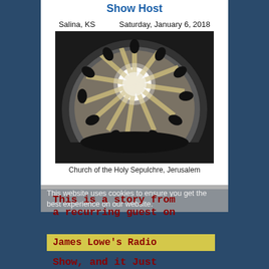Show Host
Salina, KS        Saturday, January 6, 2018
[Figure (photo): Looking up at the domed ceiling of the Church of the Holy Sepulchre in Jerusalem, with light streaming through the central oculus]
Church of the Holy Sepulchre, Jerusalem
This website uses cookies to ensure you get the best experience on our website.
This is a story from a recurring guest on James Lowe's Radio Show, and it Just Happened and It is